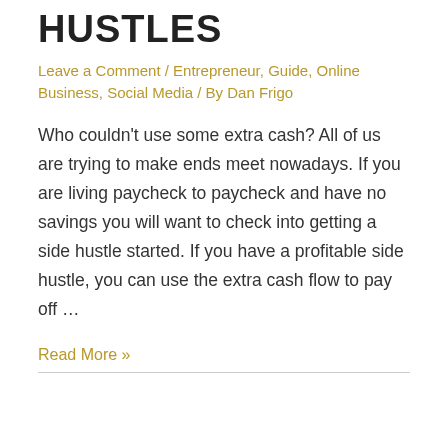HUSTLES
Leave a Comment / Entrepreneur, Guide, Online Business, Social Media / By Dan Frigo
Who couldn't use some extra cash?  All of us are trying to make ends meet nowadays.  If you are living paycheck to paycheck and have no savings you will want to check into getting a side hustle started. If you have a profitable side hustle, you can use the extra cash flow to pay off …
Read More »